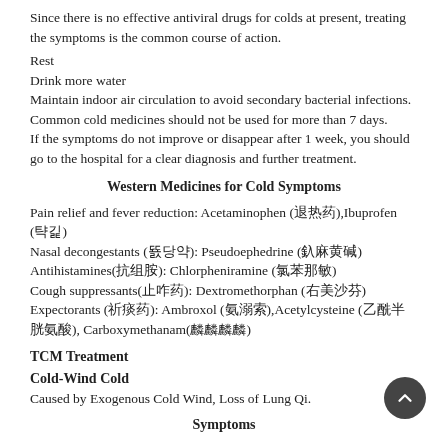Since there is no effective antiviral drugs for colds at present, treating the symptoms is the common course of action.
Rest
Drink more water
Maintain indoor air circulation to avoid secondary bacterial infections.
Common cold medicines should not be used for more than 7 days.
If the symptoms do not improve or disappear after 1 week, you should go to the hospital for a clear diagnosis and further treatment.
Western Medicines for Cold Symptoms
Pain relief and fever reduction: Acetaminophen (退热药), Ibuprofen (布洛芬)
Nasal decongestants (鼻塞药): Pseudoephedrine (伪麻黄碱)
Antihistamines(抗组胺): Chlorpheniramine (氯苯那敏)
Cough suppressants(止咳药): Dextromethorphan (右美沙芬)
Expectorants (祛痰药): Ambroxol (氨溴索), Acetylcysteine (乙酰半胱氨酸), Carboxymethanam(羧甲司坦)
TCM Treatment
Cold-Wind Cold
Caused by Exogenous Cold Wind, Loss of Lung Qi.
Symptoms